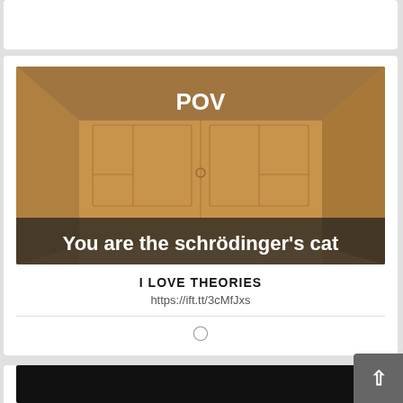[Figure (photo): Meme image showing the interior of a cardboard box from the inside. Text at the top reads 'POV' and text at the bottom reads 'You are the schrödinger's cat']
I LOVE THEORIES
https://ift.tt/3cMfJxs